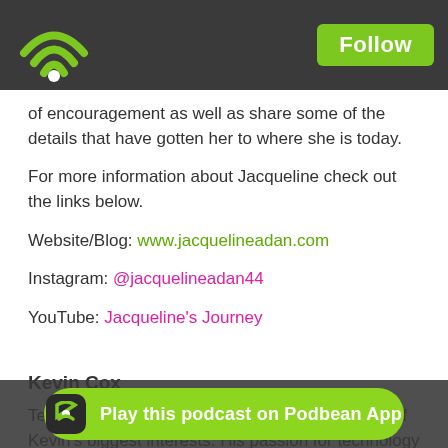Follow
of encouragement as well as share some of the details that have gotten her to where she is today.
For more information about Jacqueline check out the links below.
Website/Blog: www.jacquelineadan.com
Instagram: @jacquelineadan44
YouTube: Jacqueline's Journey
Kevin Cox
Technology and Sports have always been some of Kevin's biggest interests. His passion for technology led to him helping Jacqueline with producing the content for her blog, social media, and YouTube. After being a long-time podcast listener he decided a podcast to give deeper into the topics and content that she
Play this podcast on Podbean App